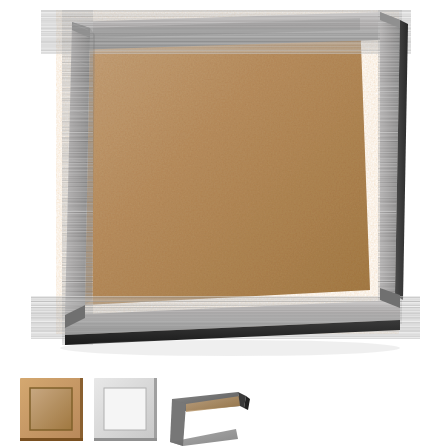[Figure (photo): A large silver/gunmetal brushed metal picture frame shown at a slight angle, revealing its depth and edge profile. The frame has a rectangular form with a cork or MDF backing visible inside. The frame surface has a brushed steel texture with dark edges.]
[Figure (photo): Three small thumbnail images of picture frames in different finishes: a warm wood/copper-toned frame, a white or light silver frame, and a dark charcoal/gunmetal frame corner shown at angle.]